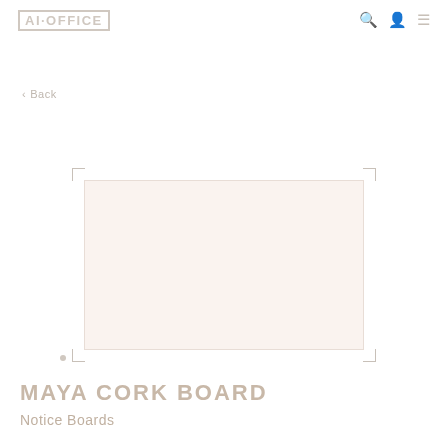AI-OFFICE
< Back
[Figure (photo): A light beige/cream colored cork board product (Maya Cork Board) displayed against a white background, shown as a rectangular board with slightly rounded corners. Corner crop markers visible around the image.]
MAYA CORK BOARD
Notice Boards